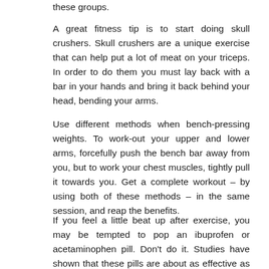these groups.
A great fitness tip is to start doing skull crushers. Skull crushers are a unique exercise that can help put a lot of meat on your triceps. In order to do them you must lay back with a bar in your hands and bring it back behind your head, bending your arms.
Use different methods when bench-pressing weights. To work-out your upper and lower arms, forcefully push the bench bar away from you, but to work your chest muscles, tightly pull it towards you. Get a complete workout – by using both of these methods – in the same session, and reap the benefits.
If you feel a little beat up after exercise, you may be tempted to pop an ibuprofen or acetaminophen pill. Don't do it. Studies have shown that these pills are about as effective as a placebo to relieve the pain associated with exercise. Moreover, it's been shown that the pills can